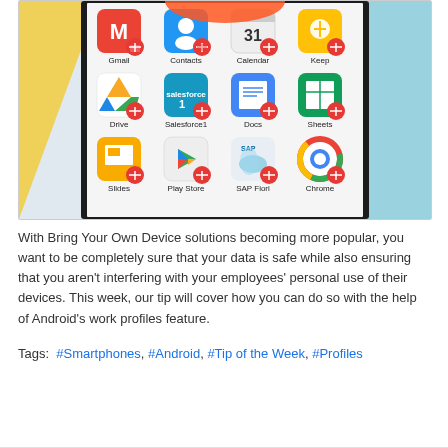[Figure (screenshot): Screenshot of an Android phone screen showing a grid of work profile apps: Gmail, Contacts, Calendar, Keep, Drive, Salesforce1, Docs, Sheets, Slides, Play Store, SAP Fiori, Chrome. Each app icon has a small orange work briefcase badge.]
With Bring Your Own Device solutions becoming more popular, you want to be completely sure that your data is safe while also ensuring that you aren't interfering with your employees' personal use of their devices. This week, our tip will cover how you can do so with the help of Android's work profiles feature.
Tags: #Smartphones, #Android, #Tip of the Week, #Profiles